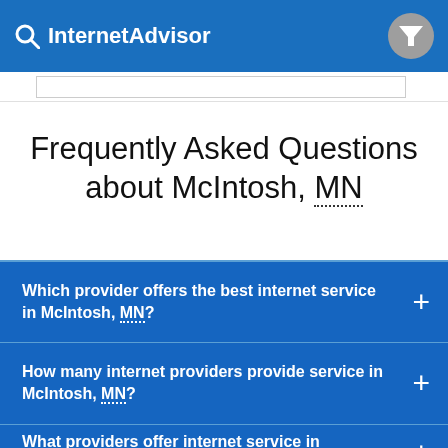InternetAdvisor
Frequently Asked Questions about McIntosh, MN
Which provider offers the best internet service in McIntosh, MN?
How many internet providers provide service in McIntosh, MN?
What providers offer internet service in McIntosh, MN.